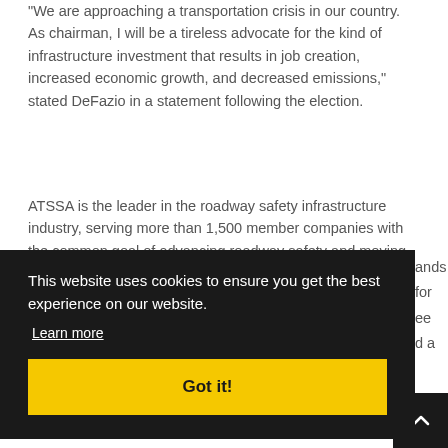"We are approaching a transportation crisis in our country. As chairman, I will be a tireless advocate for the kind of infrastructure investment that results in job creation, increased economic growth, and decreased emissions," stated DeFazio in a statement following the election.
ATSSA is the leader in the roadway safety infrastructure industry, serving more than 1,500 member companies with the common goal of advancing roadway safety and moving Toward Zero Deaths on our nation's roadways.
[Figure (other): Cookie consent overlay banner with dark background. Text reads 'This website uses cookies to ensure you get the best experience on our website.' with a 'Learn more' link and a yellow 'Got it!' button.]
President and CEO Roger Wentz.